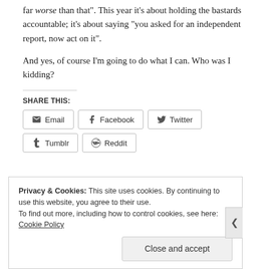far worse than that". This year it's about holding the bastards accountable; it's about saying "you asked for an independent report, now act on it".
And yes, of course I'm going to do what I can. Who was I kidding?
SHARE THIS:
Email | Facebook | Twitter | Tumblr | Reddit
Privacy & Cookies: This site uses cookies. By continuing to use this website, you agree to their use. To find out more, including how to control cookies, see here: Cookie Policy
Close and accept